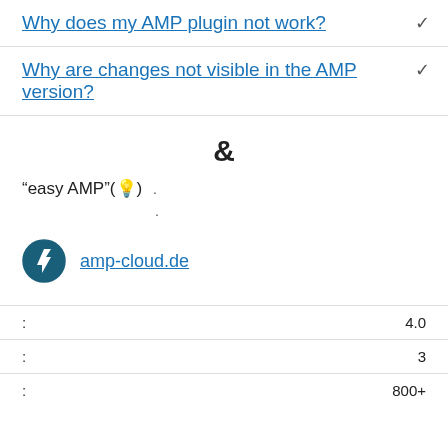Why does my AMP plugin not work?
Why are changes not visible in the AMP version?
&
“easy AMP”(💡)
amp-cloud.de
|  |  |
| --- | --- |
| : | 4.0 |
| : | 3 |
| : | 800+ |